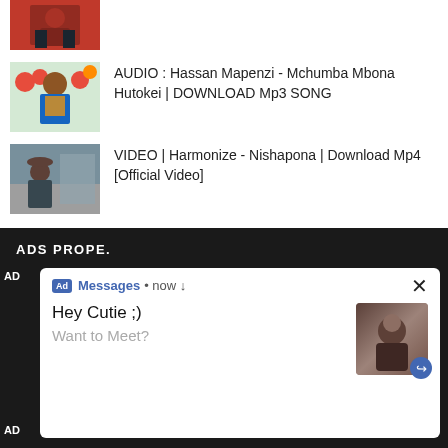[Figure (photo): Partial thumbnail image of a person at top of page]
AUDIO : Hassan Mapenzi - Mchumba Mbona Hutokei | DOWNLOAD Mp3 SONG
VIDEO | Harmonize - Nishapona | Download Mp4 [Official Video]
ADS PROPE.
Ad Messages • now ↓
Hey Cutie ;)
Want to Meet?